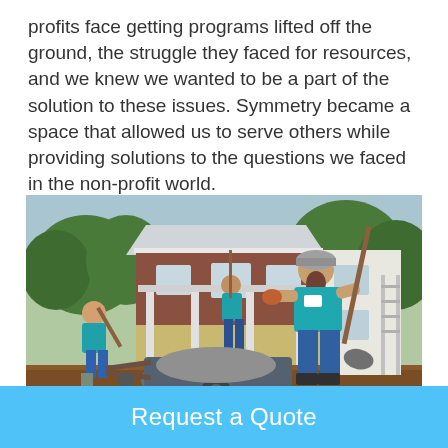profits face getting programs lifted off the ground, the struggle they faced for resources, and we knew we wanted to be a part of the solution to these issues. Symmetry became a space that allowed us to serve others while providing solutions to the questions we faced in the non-profit world.
[Figure (photo): Volunteers in teal shirts doing construction/landscaping work outside a house, with a wheelbarrow in the foreground.]
Request a Quote